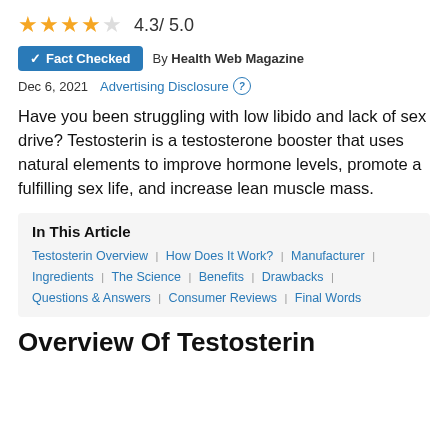4.3 / 5.0
Fact Checked  By Health Web Magazine
Dec 6, 2021  Advertising Disclosure
Have you been struggling with low libido and lack of sex drive? Testosterin is a testosterone booster that uses natural elements to improve hormone levels, promote a fulfilling sex life, and increase lean muscle mass.
In This Article
Testosterin Overview | How Does It Work? | Manufacturer | Ingredients | The Science | Benefits | Drawbacks | Questions & Answers | Consumer Reviews | Final Words
Overview Of Testosterin